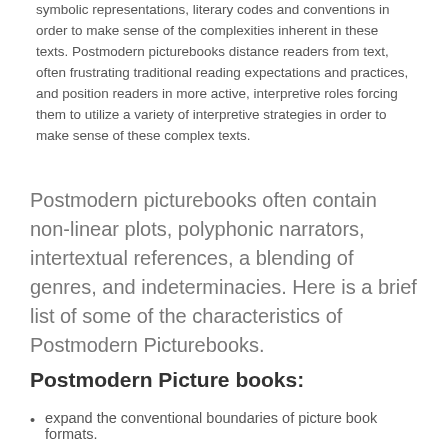symbolic representations, literary codes and conventions in order to make sense of the complexities inherent in these texts. Postmodern picturebooks distance readers from text, often frustrating traditional reading expectations and practices, and position readers in more active, interpretive roles forcing them to utilize a variety of interpretive strategies in order to make sense of these complex texts.
Postmodern picturebooks often contain non-linear plots, polyphonic narrators, intertextual references, a blending of genres, and indeterminacies. Here is a brief list of some of the characteristics of Postmodern Picturebooks.
Postmodern Picture books:
expand the conventional boundaries of picture book formats.